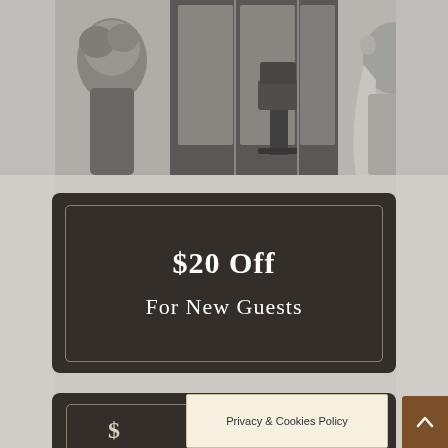[Figure (photo): Three black and white salon photos: left shows woman with updo hairstyle, center shows salon interior with styling chair, right shows woman with long blonde hair]
[Figure (photo): Dark promotional banner with text '$20 Off For New Guests' on a dark background with decorative border]
$20 Off
For New Guests
[Figure (photo): Partially visible bottom promotional card similar to the top one]
Privacy & Cookies Policy